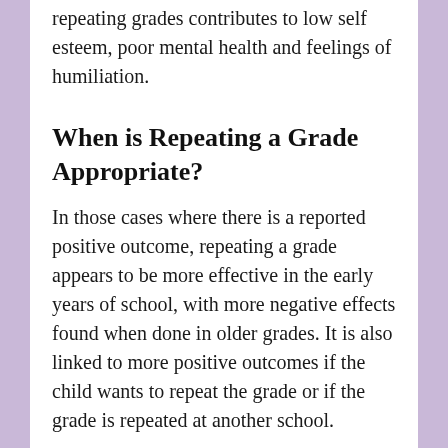repeating grades contributes to low self esteem, poor mental health and feelings of humiliation.
When is Repeating a Grade Appropriate?
In those cases where there is a reported positive outcome, repeating a grade appears to be more effective in the early years of school, with more negative effects found when done in older grades. It is also linked to more positive outcomes if the child wants to repeat the grade or if the grade is repeated at another school.
Another situation where there may be a more positive outcome is in high school if a